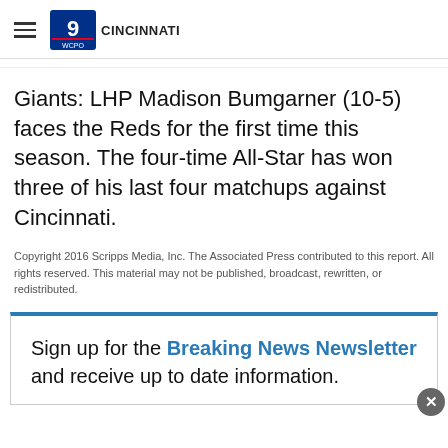WCPO 9 CINCINNATI
Giants: LHP Madison Bumgarner (10-5) faces the Reds for the first time this season. The four-time All-Star has won three of his last four matchups against Cincinnati.
Copyright 2016 Scripps Media, Inc. The Associated Press contributed to this report. All rights reserved. This material may not be published, broadcast, rewritten, or redistributed.
Sign up for the Breaking News Newsletter and receive up to date information.